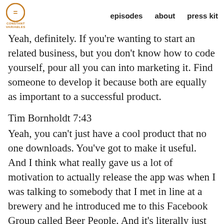episodes  about  press kit
Yeah, definitely. If you're wanting to start an related business, but you don't know how to code yourself, pour all you can into marketing it. Find someone to develop it because both are equally as important to a successful product.
Tim Bornholdt 7:43
Yeah, you can't just have a cool product that no one downloads. You've got to make it useful. And I think what really gave us a lot of motivation to actually release the app was when I was talking to somebody that I met in line at a brewery and he introduced me to this Facebook Group called Beer People. And it's literally just 12,000 people from Minnesota that like beer. And that's it. It's every day, people are just posting pictures of what beer they're drinking, and they're getting hundreds of likes on their pictures, because